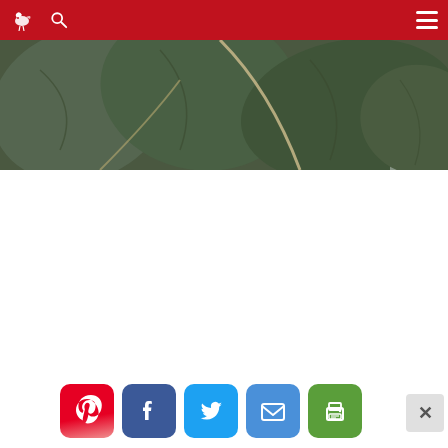Website navigation bar with logo, search icon, and menu icon on red background
[Figure (photo): Close-up photo of dark green textured leaves (possibly mint or sage), with a pale yellowish stem visible, on a light background]
[Figure (infographic): Social sharing buttons row: Pinterest (red/pink), Facebook (blue), Twitter (blue), Email (blue), Print (green), and a close/dismiss button (gray X)]